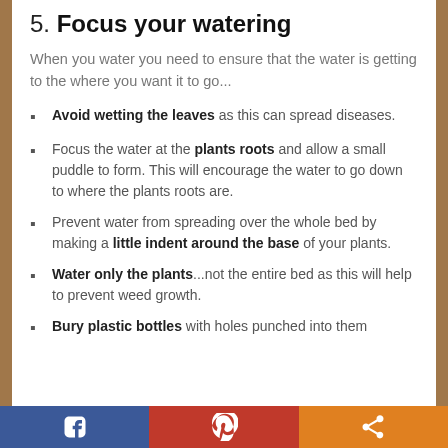5. Focus your watering
When you water you need to ensure that the water is getting to the where you want it to go...
Avoid wetting the leaves as this can spread diseases.
Focus the water at the plants roots and allow a small puddle to form. This will encourage the water to go down to where the plants roots are.
Prevent water from spreading over the whole bed by making a little indent around the base of your plants.
Water only the plants...not the entire bed as this will help to prevent weed growth.
Bury plastic bottles with holes punched into them